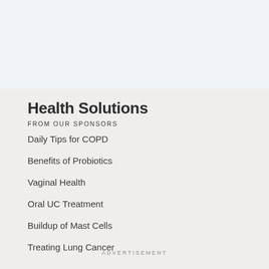Health Solutions
FROM OUR SPONSORS
Daily Tips for COPD
Benefits of Probiotics
Vaginal Health
Oral UC Treatment
Buildup of Mast Cells
Treating Lung Cancer
ADVERTISEMENT